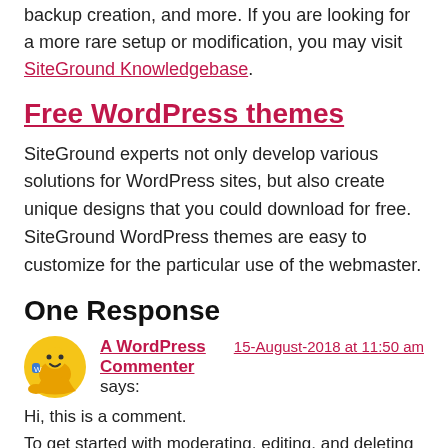backup creation, and more. If you are looking for a more rare setup or modification, you may visit SiteGround Knowledgebase.
Free WordPress themes
SiteGround experts not only develop various solutions for WordPress sites, but also create unique designs that you could download for free. SiteGround WordPress themes are easy to customize for the particular use of the webmaster.
One Response
A WordPress Commenter says: 15-August-2018 at 11:50 am
Hi, this is a comment. To get started with moderating, editing, and deleting comments, please visit the Comments screen in the dashboard. Commenter avatars come from Gravatar.